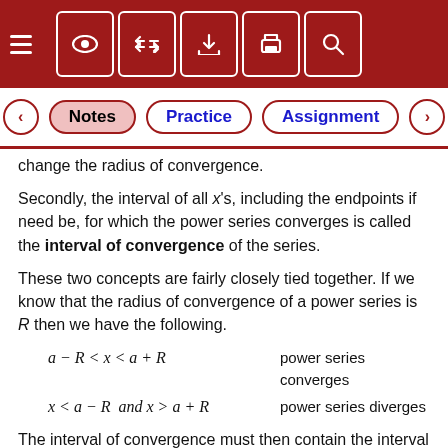Notes | Practice | Assignment (navigation bar)
change the radius of convergence.
Secondly, the interval of all x's, including the endpoints if need be, for which the power series converges is called the interval of convergence of the series.
These two concepts are fairly closely tied together. If we know that the radius of convergence of a power series is R then we have the following.
The interval of convergence must then contain the interval a − R < x < a + R since we know that the power series will converge for these values. We also know that